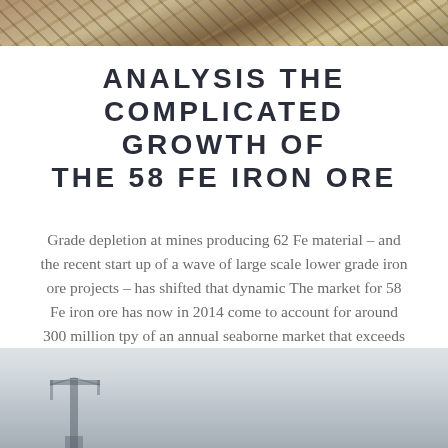[Figure (photo): Top portion of an outdoor mining/construction site photo showing earth and debris]
ANALYSIS THE COMPLICATED GROWTH OF THE 58 FE IRON ORE
Grade depletion at mines producing 62 Fe material – and the recent start up of a wave of large scale lower grade iron ore projects – has shifted that dynamic The market for 58 Fe iron ore has now in 2014 come to account for around 300 million tpy of an annual seaborne market that exceeds 1 billion tpy
[Figure (photo): Bottom portion showing a foggy industrial scene with crane or tower structure in mist]